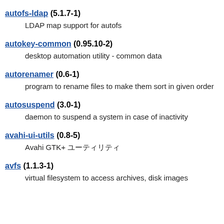autofs-ldap (5.1.7-1)
  LDAP map support for autofs
autokey-common (0.95.10-2)
  desktop automation utility - common data
autorenamer (0.6-1)
  program to rename files to make them sort in given order
autosuspend (3.0-1)
  daemon to suspend a system in case of inactivity
avahi-ui-utils (0.8-5)
  Avahi GTK+ ユーティリティ
avfs (1.1.3-1)
  virtual filesystem to access archives, disk images